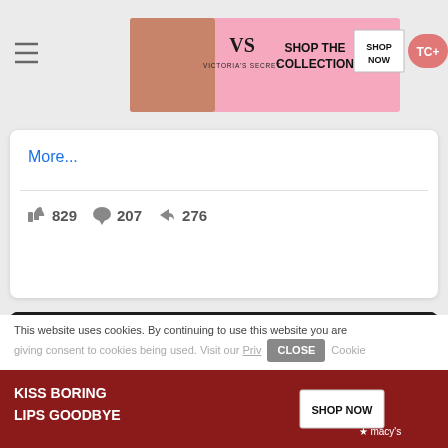[Figure (screenshot): Victoria's Secret advertisement banner at top: pink background with model, VS logo, 'SHOP THE COLLECTION' text, 'SHOP NOW' button. TC+ pink button on far right.]
More...
👍 829  💬 207  ➤ 276
[Figure (photo): Overhead/aerial view of police officers in black riot gear surrounding and restraining individuals on the ground. One person is visible with a riot shield.]
This website uses cookies. By continuing to use this website you are giving consent to cookies being used. Visit our Priv Cookie
[Figure (screenshot): Macy's advertisement banner: dark red background with 'KISS BORING LIPS GOODBYE' text and 'SHOP NOW' button with Macy's star logo.]